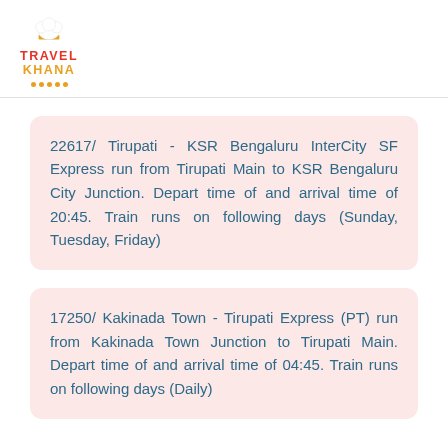[Figure (logo): TravelKhana logo with chef hat icon, red text TRAVEL and orange text KHANA with orange dots below]
22617/ Tirupati - KSR Bengaluru InterCity SF Express run from Tirupati Main to KSR Bengaluru City Junction. Depart time of and arrival time of 20:45. Train runs on following days (Sunday, Tuesday, Friday)
17250/ Kakinada Town - Tirupati Express (PT) run from Kakinada Town Junction to Tirupati Main. Depart time of and arrival time of 04:45. Train runs on following days (Daily)